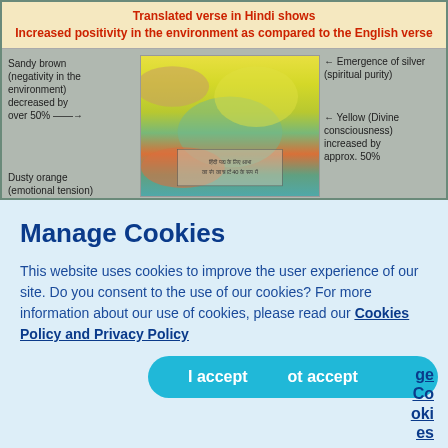[Figure (infographic): A scientific diagram showing a kirlian/aura image with color annotations. Title states 'Translated verse in Hindi shows Increased positivity in the environment as compared to the English verse'. Left labels: 'Sandy brown (negativity in the environment) decreased by over 50%' and 'Dusty orange (emotional tension)'. Right labels: 'Emergence of silver (spiritual purity)' and 'Yellow (Divine consciousness) increased by approx. 50%'.]
Manage Cookies
This website uses cookies to improve the user experience of our site. Do you consent to the use of our cookies? For more information about our use of cookies, please read our Cookies Policy and Privacy Policy